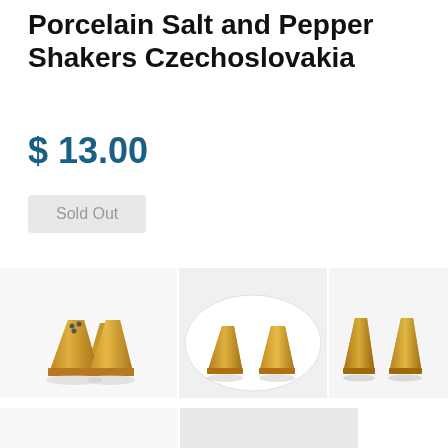Porcelain Salt and Pepper Shakers Czechoslovakia
$ 13.00
Sold Out
[Figure (photo): Gold/yellow porcelain salt and pepper shakers side by side, viewed from front]
[Figure (photo): Gold/yellow porcelain salt and pepper shakers on white plate background, slightly separated]
[Figure (photo): Gold/yellow porcelain salt and pepper shakers on white background, viewed from side]
[Figure (photo): Gold/yellow porcelain salt and pepper shakers close up from front angle]
[Figure (photo): White square porcelain pieces with black dot centers, top-down view]